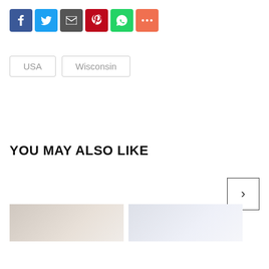[Figure (other): Social share buttons row: Facebook (blue), Twitter (light blue), Email/print (dark gray), Pinterest (red), WhatsApp (green), More (orange-red)]
USA
Wisconsin
YOU MAY ALSO LIKE
[Figure (other): Carousel next arrow button (right chevron in square border)]
[Figure (photo): Thumbnail image 1 (left)]
[Figure (photo): Thumbnail image 2 (right)]